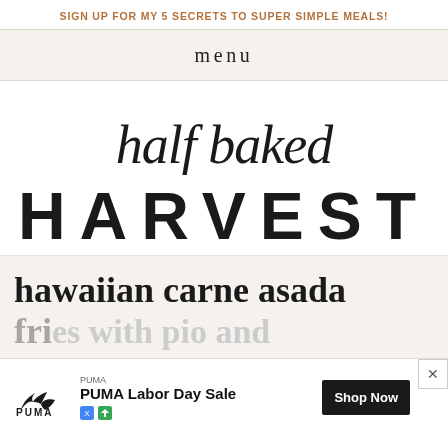SIGN UP FOR MY 5 SECRETS TO SUPER SIMPLE MEALS!
menu
[Figure (logo): Half Baked Harvest logo — script 'half baked' in cursive above bold sans-serif 'HARVEST']
hawaiian carne asada fries with pio and nic
[Figure (other): PUMA advertisement overlay: PUMA logo, 'PUMA Labor Day Sale', Shop Now button]